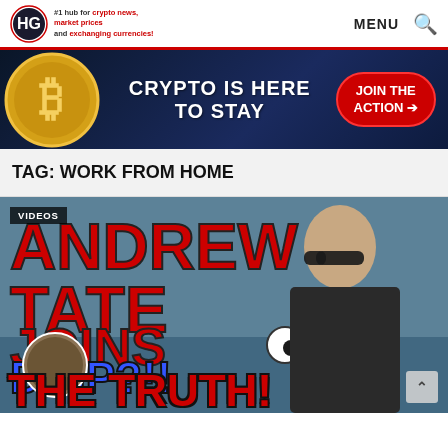#1 hub for crypto news, market prices and exchanging currencies! MENU
[Figure (screenshot): Crypto banner advertisement with Bitcoin coin graphic, text 'CRYPTO IS HERE TO STAY' and red button 'JOIN THE ACTION']
TAG: WORK FROM HOME
[Figure (photo): Video thumbnail showing Andrew Tate with text 'ANDREW TATE JOINS DRIP?!! THE TRUTH!' with VIDEOS label overlay]